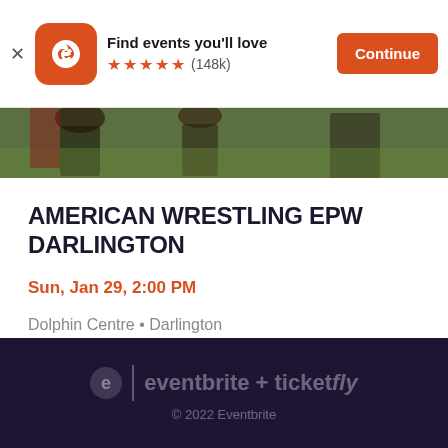[Figure (screenshot): Eventbrite app install banner with logo, 'Find events you'll love' text, 5 orange stars, (148k) reviews, and a red Continue button]
[Figure (photo): Partial hero image showing wrestlers or event participants outdoors on green grass]
AMERICAN WRESTLING EPW DARLINGTON
Sun, Jan 29, 2:00 PM
Dolphin Centre • Darlington
£5.98 - £16.76
eventbrite + ticketfly © 2022 Eventbrite